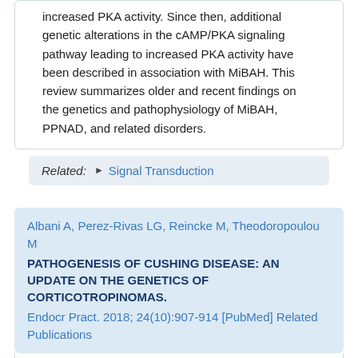increased PKA activity. Since then, additional genetic alterations in the cAMP/PKA signaling pathway leading to increased PKA activity have been described in association with MiBAH. This review summarizes older and recent findings on the genetics and pathophysiology of MiBAH, PPNAD, and related disorders.
Related: ▶ Signal Transduction
Albani A, Perez-Rivas LG, Reincke M, Theodoropoulou M
PATHOGENESIS OF CUSHING DISEASE: AN UPDATE ON THE GENETICS OF CORTICOTROPINOMAS.
Endocr Pract. 2018; 24(10):907-914 [PubMed] Related Publications
OBJECTIVE: Cushing disease is a rare severe condition caused by pituitary tumors that secrete adrenocorticotropic hormone (ACTH), leading to excess glucocorticoid production. To...